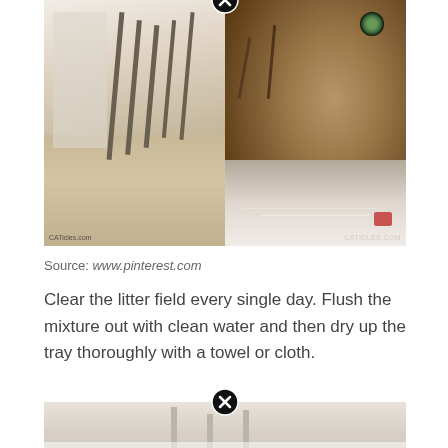[Figure (photo): Two-panel composite photo: left panel shows a litter box with striped pattern on a wooden floor (watermark: CATicles.com), right panel shows a close-up of a tabby cat face (watermark: CATICLES.COM). A close/delete button (X in circle) appears at the top center.]
Source: www.pinterest.com
Clear the litter field every single day. Flush the mixture out with clean water and then dry up the tray thoroughly with a towel or cloth.
[Figure (photo): Partial photo visible at bottom of page showing what appears to be litter box or similar container. A close/delete button (X in circle) appears at the top center.]